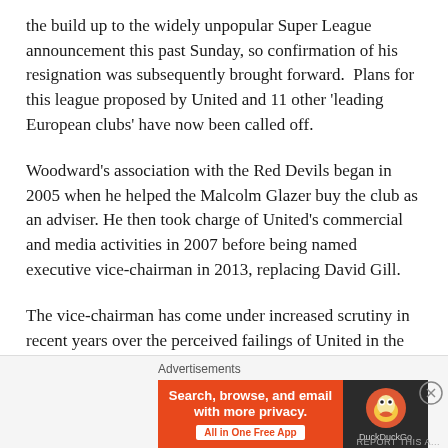the build up to the widely unpopular Super League announcement this past Sunday, so confirmation of his resignation was subsequently brought forward.  Plans for this league proposed by United and 11 other 'leading European clubs' have now been called off.
Woodward's association with the Red Devils began in 2005 when he helped the Malcolm Glazer buy the club as an adviser. He then took charge of United's commercial and media activities in 2007 before being named executive vice-chairman in 2013, replacing David Gill.
The vice-chairman has come under increased scrutiny in recent years over the perceived failings of United in the transfer market.
[Figure (infographic): DuckDuckGo advertisement banner: 'Search, browse, and email with more privacy. All in One Free App' with DuckDuckGo logo on dark background]